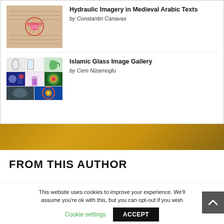[Figure (illustration): Thumbnail of a medieval Arabic manuscript page with geometric/hydraulic diagrams and Arabic text]
Hydraulic Imagery in Medieval Arabic Texts
by Constantin Canavas
[Figure (photo): Collage of Islamic glass objects and stained glass architecture images arranged in a grid]
Islamic Glass Image Gallery
by Cem Nizamoglu
FROM THIS AUTHOR
This website uses cookies to improve your experience. We'll assume you're ok with this, but you can opt-out if you wish